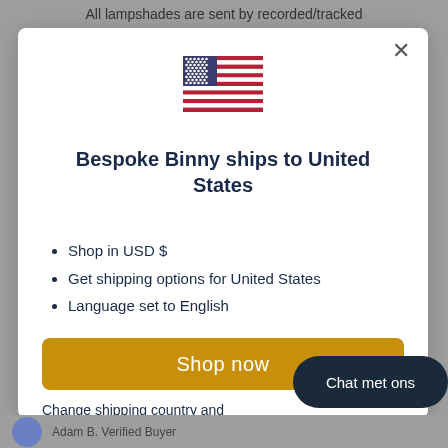All lampshades are sent by recorded/tracked
[Figure (illustration): US flag emoji/icon displayed at top of modal dialog]
Bespoke Binny ships to United States
Shop in USD $
Get shipping options for United States
Language set to English
Shop now
Change shipping country and
Chat met ons